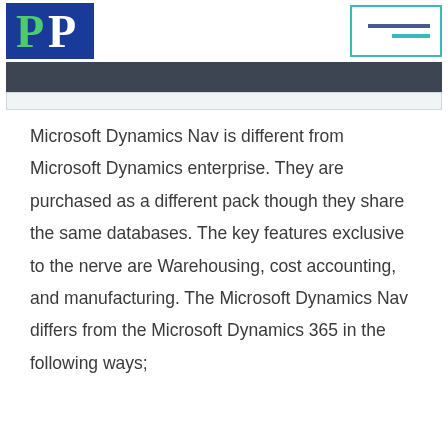PP logo and menu icon
Microsoft Dynamics Nav is different from Microsoft Dynamics enterprise. They are purchased as a different pack though they share the same databases. The key features exclusive to the nerve are Warehousing, cost accounting, and manufacturing. The Microsoft Dynamics Nav differs from the Microsoft Dynamics 365 in the following ways;